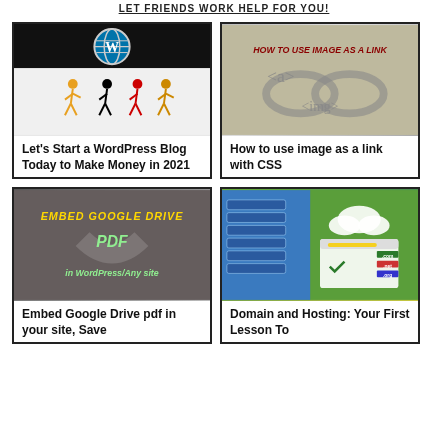LET FRIENDS WORK HELP FOR YOU!
[Figure (illustration): WordPress logo on dark background with stick figures running below]
Let's Start a WordPress Blog Today to Make Money in 2021
[Figure (illustration): Image showing 'HOW TO USE IMAGE AS A LINK' text with HTML anchor and img tags on metallic background]
How to use image as a link with CSS
[Figure (illustration): Dark background with text: EMBED GOOGLE DRIVE PDF in WordPress/Any site]
Embed Google Drive pdf in your site, Save
[Figure (illustration): Server racks and domain/hosting illustration with clouds and domain extensions]
Domain and Hosting: Your First Lesson To